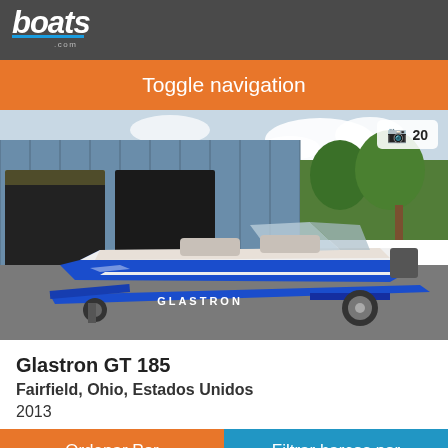boats.com
Toggle navigation
[Figure (photo): A blue and white Glastron GT 185 speedboat on a blue trailer parked in front of a large metal building/warehouse. Photo count badge shows camera icon and 20.]
Glastron GT 185
Fairfield, Ohio, Estados Unidos
2013
Ordenar Por  |  Filtrar barcos por